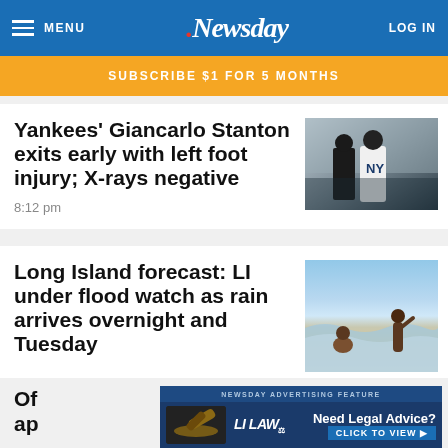MENU | .Newsday | LOG IN
SUBSCRIBE $1 FOR 5 MONTHS
Yankees' Giancarlo Stanton exits early with left foot injury; X-rays negative
8:12 pm
[Figure (photo): Baseball players, one in Yankees pinstripe uniform with NY logo on helmet]
Long Island forecast: LI under flood watch as rain arrives overnight and Tuesday
[Figure (photo): Children playing in ocean waves on a beach]
Of ap
[Figure (other): NEWSDAY ADVERTISING FEATURE - LI LAW - Need Legal Advice? CLICK TO VIEW]